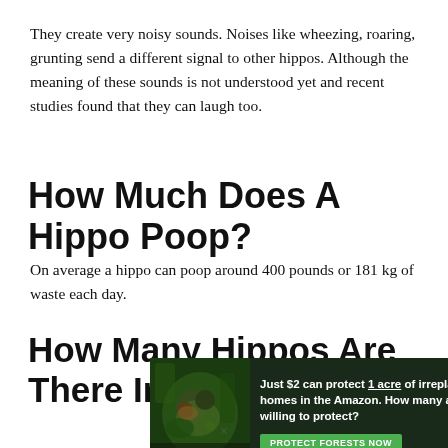They create very noisy sounds. Noises like wheezing, roaring, grunting send a different signal to other hippos. Although the meaning of these sounds is not understood yet and recent studies found that they can laugh too.
How Much Does A Hippo Poop?
On average a hippo can poop around 400 pounds or 181 kg of waste each day.
How Many Hippos Are There In The World?
[Figure (infographic): Advertisement banner: dark forest background with animal imagery. Text reads 'Just $2 can protect 1 acre of irreplaceable forest homes in the Amazon. How many acres are you willing to protect?' with a green 'PROTECT FORESTS NOW' button.]